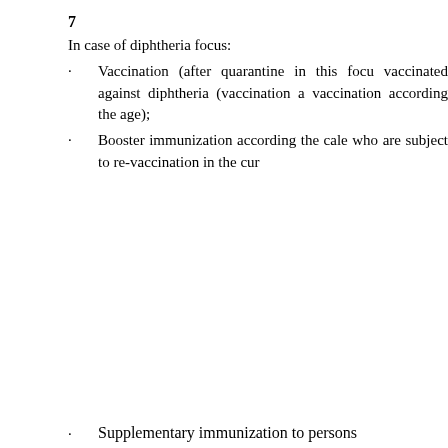7
In case of diphtheria focus:
Vaccination (after quarantine in this focus vaccinated against diphtheria (vaccination a vaccination according the age);
Booster immunization according the cale who are subject to re-vaccination in the cur
Supplementary immunization to persons